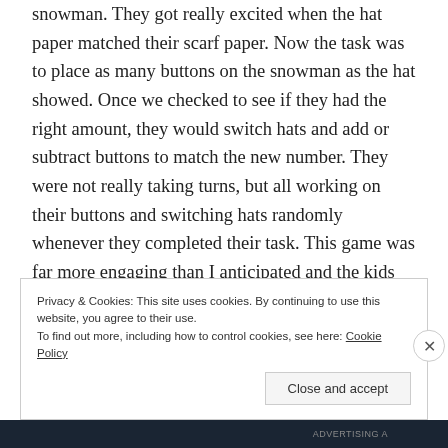snowman.  They got really excited when the hat paper matched their scarf paper.  Now the task was to place as many buttons on the snowman as the hat showed.  Once we checked to see if they had the right amount, they would switch hats and add or subtract buttons to match the new number.  They were not really taking turns, but all working on their buttons and switching hats randomly whenever they completed their task.  This game was far more engaging than I anticipated and the kids really enjoyed it.  Here is the post where I got the idea.
Privacy & Cookies: This site uses cookies. By continuing to use this website, you agree to their use. To find out more, including how to control cookies, see here: Cookie Policy